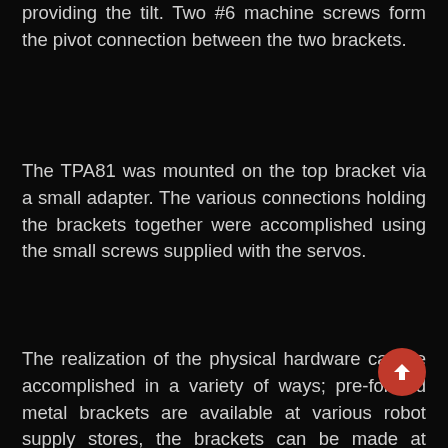providing the tilt. Two #6 machine screws form the pivot connection between the two brackets.
The TPA81 was mounted on the top bracket via a small adapter. The various connections holding the brackets together were accomplished using the small screws supplied with the servos.
The realization of the physical hardware can be accomplished in a variety of ways; pre-formed metal brackets are available at various robot supply stores, the brackets can be made at home by bending thin metal